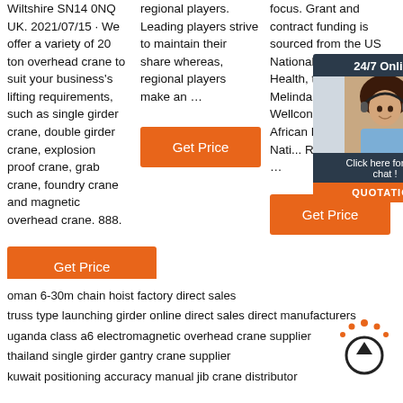Wiltshire SN14 0NQ UK. 2021/07/15 · We offer a variety of 20 ton overhead crane to suit your business's lifting requirements, such as single girder crane, double girder crane, explosion proof crane, grab crane, foundry crane and magnetic overhead crane. 888.
Get Price
regional players. Leading players strive to maintain their share whereas, regional players make an …
Get Price
[Figure (infographic): Chat widget overlay with '24/7 Online' header, photo of woman with headset, 'Click here for free chat!' text, and 'QUOTATION' orange button]
focus. Grant and contract funding is sourced from the US National Institutes of Health, the Bill & Melinda ... Foundation, Wellcon... EDCTP, African Research... the Nati... Research... of …
Get Price
oman 6-30m chain hoist factory direct sales
truss type launching girder online direct sales direct manufacturers
uganda class a6 electromagnetic overhead crane supplier
thailand single girder gantry crane supplier
kuwait positioning accuracy manual jib crane distributor
[Figure (logo): TOP scroll-to-top button logo with arrow circle]